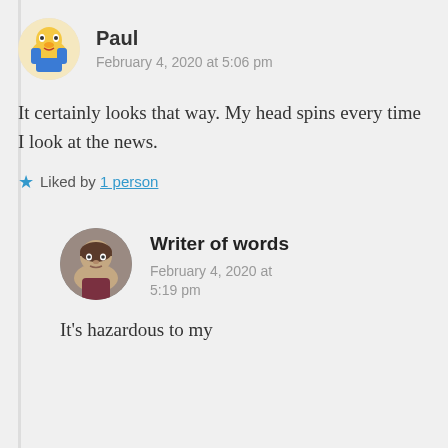Paul
February 4, 2020 at 5:06 pm
It certainly looks that way. My head spins every time I look at the news.
Liked by 1 person
Writer of words
February 4, 2020 at 5:19 pm
It’s hazardous to my